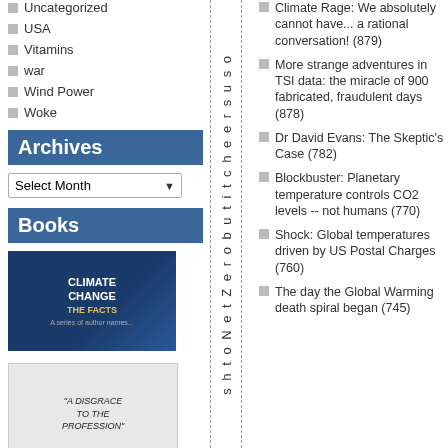Uncategorized
USA
Vitamins
war
Wind Power
Woke
Archives
Select Month
Books
[Figure (photo): Climate Change: The Facts book cover]
[Figure (photo): A Disgrace to the Profession book cover]
shtоNetZеrobuitcheersusoп
Climate Rage: We absolutely cannot have... a rational conversation! (879)
More strange adventures in TSI data: the miracle of 900 fabricated, fraudulent days (878)
Dr David Evans: The Skeptic's Case (782)
Blockbuster: Planetary temperature controls CO2 levels -- not humans (770)
Shock: Global temperatures driven by US Postal Charges (760)
The day the Global Warming death spiral began (745)